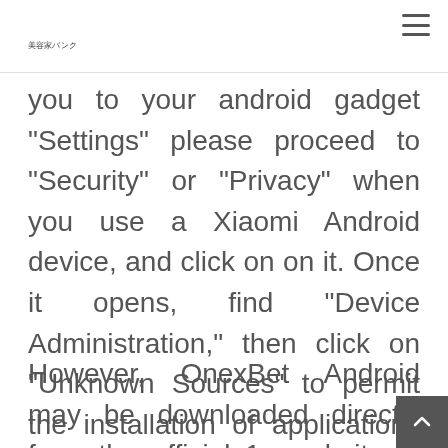美容家バンク
you to your android gadget “Settings” please proceed to “Security” or “Privacy” when you use a Xiaomi Android device, and click on on it. Once it opens, find “Device Administration,” then click on “Unknown Sources” to permit the installation of applications from external or unknown sources.
However, OnexBet Android may be downloaded directly from the official 1x website in Russian or any working mirr